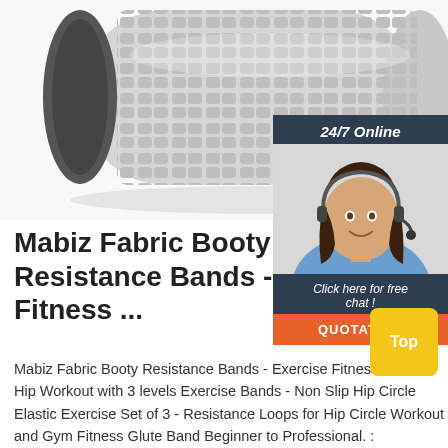[Figure (photo): A grey textured foam roller photographed diagonally on a white background, showing the bumpy grid-pattern surface. The left end shows the black inner tube core.]
[Figure (photo): Chat widget overlay: dark navy header reading '24/7 Online' in italic bold white text, below it a photo of a smiling woman with dark hair wearing a headset and blue shirt, followed by a navy section with 'Click here for free chat!' in white italic, and an orange button labeled 'QUOTATION' in bold white caps.]
Mabiz Fabric Booty Resistance Bands - Exercise Fitness ...
Mabiz Fabric Booty Resistance Bands - Exercise Fitness band for Hip Workout with 3 levels Exercise Bands - Non Slip Hip Circle Elastic Exercise Set of 3 - Resistance Loops for Hip Circle Workout and Gym Fitness Glute Band Beginner to Professional. : Amazon.com.au: Sports, Fitness & Outdoors
[Figure (illustration): Yellow rounded square button with white 'Top' text, partially overlapping an orange arrow shape at the bottom right of the page.]